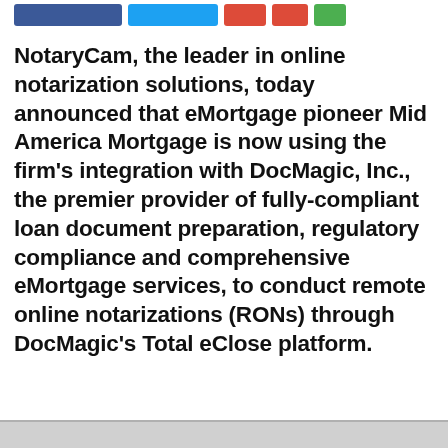[Figure (other): Social media sharing buttons: Facebook (blue), Twitter (light blue), Google (red), YouTube (red), Share (green)]
NotaryCam, the leader in online notarization solutions, today announced that eMortgage pioneer Mid America Mortgage is now using the firm’s integration with DocMagic, Inc., the premier provider of fully-compliant loan document preparation, regulatory compliance and comprehensive eMortgage services, to conduct remote online notarizations (RONs) through DocMagic’s Total eClose platform.